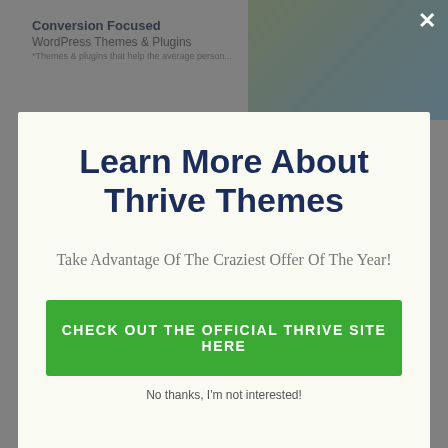Conversion Focused
WordPress Themes & Plugins
Learn More About Thrive Themes
Take Advantage Of The Craziest Offer Of The Year!
CHECK OUT THE OFFICIAL THRIVE SITE HERE
No thanks, I'm not interested!
The system is automatically gather testimonials and then display them in an appealing means on your site web